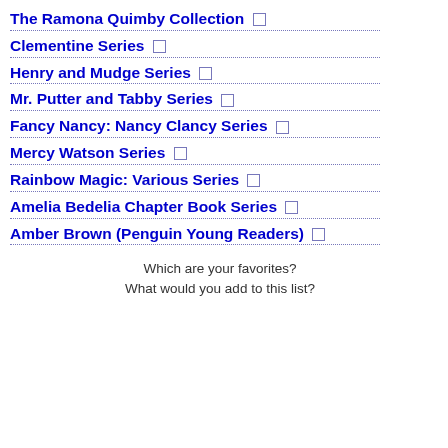The Ramona Quimby Collection
Clementine Series
Henry and Mudge Series
Mr. Putter and Tabby Series
Fancy Nancy: Nancy Clancy Series
Mercy Watson Series
Rainbow Magic: Various Series
Amelia Bedelia Chapter Book Series
Amber Brown (Penguin Young Readers)
Which are your favorites?
What would you add to this list?